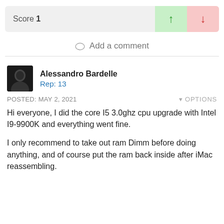Score 1
Add a comment
Alessandro Bardelle
Rep: 13
POSTED: MAY 2, 2021
OPTIONS
Hi everyone, I did the core I5 3.0ghz cpu upgrade with Intel I9-9900K and everything went fine.

I only recommend to take out ram Dimm before doing anything, and of course put the ram back inside after iMac reassembling.